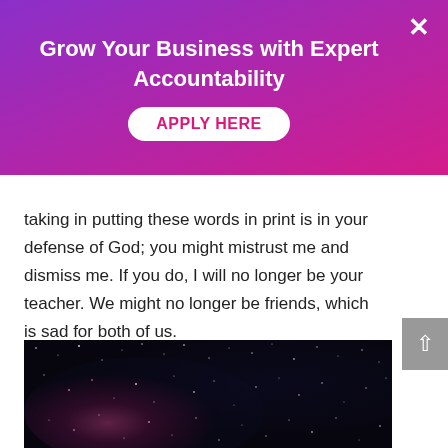Grow Your Business with Expert Accountability
APPLY HERE
taking in putting these words in print is in your defense of God; you might mistrust me and dismiss me. If you do, I will no longer be your teacher. We might no longer be friends, which is sad for both of us.
My intention in raising this question is to cry with those for whom the statement, ‘God is in control’ left them weeping and feeling forsaken.
[Figure (photo): A dark photograph of a galaxy or star cluster showing pink and white stars against a dark blue-black space background.]